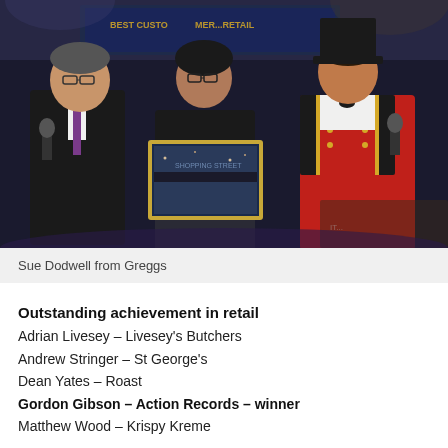[Figure (photo): Three people posing at an awards ceremony. A man in a dark suit holding a microphone on the left, a woman in a black top holding a framed photograph in the centre, and a man in a red ringmaster-style jacket and top hat on the right. A screen in the background reads 'Best Customer...']
Sue Dodwell from Greggs
Outstanding achievement in retail
Adrian Livesey – Livesey's Butchers
Andrew Stringer – St George's
Dean Yates – Roast
Gordon Gibson – Action Records – winner
Matthew Wood – Krispy Kreme